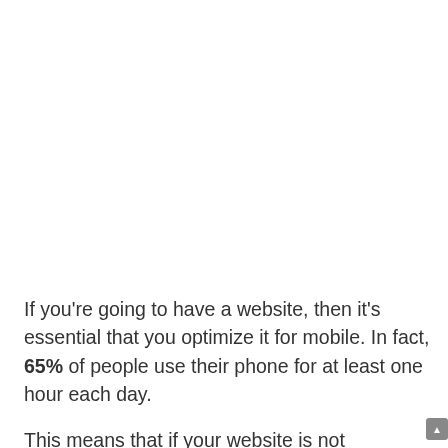If you're going to have a website, then it's essential that you optimize it for mobile. In fact, 65% of people use their phone for at least one hour each day.
This means that if your website is not optimized for mobile, then the majority of people won't be able to see your website content. It'll just show an error message and they will have to